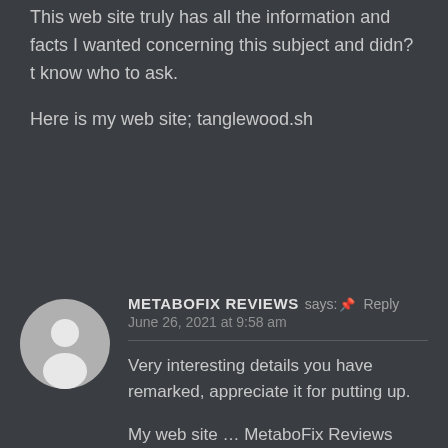This web site truly has all the information and facts I wanted concerning this subject and didn?t know who to ask.
Here is my web site; tanglewood.sh
[Figure (illustration): Circular avatar placeholder with grey background and silhouette of a person]
METABOFIX REVIEWS says: Reply
June 26, 2021 at 9:58 am
Very interesting details you have remarked, appreciate it for putting up.
My web site … MetaboFix Reviews